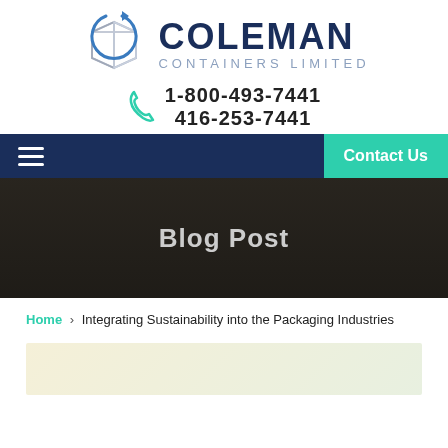[Figure (logo): Coleman Containers Limited logo with circular arrow and box icon, company name in dark navy and 'CONTAINERS LIMITED' in light blue-grey]
1-800-493-7441
416-253-7441
Contact Us
[Figure (photo): Dark background hero image of hands working, with 'Blog Post' text overlay]
Home > Integrating Sustainability into the Packaging Industries